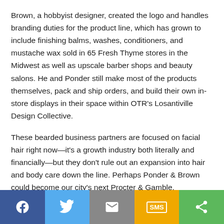Brown, a hobbyist designer, created the logo and handles branding duties for the product line, which has grown to include finishing balms, washes, conditioners, and mustache wax sold in 65 Fresh Thyme stores in the Midwest as well as upscale barber shops and beauty salons. He and Ponder still make most of the products themselves, pack and ship orders, and build their own in-store displays in their space within OTR's Losantiville Design Collective.
These bearded business partners are focused on facial hair right now—it's a growth industry both literally and financially—but they don't rule out an expansion into hair and body care down the line. Perhaps Ponder & Brown could become our city's next Procter & Gamble.
[Figure (infographic): Social sharing bar with five buttons: Facebook (dark blue, f icon), Twitter (light blue, bird icon), Email (grey, envelope icon), SMS (yellow/orange, SMS label), Share (green, share icon)]